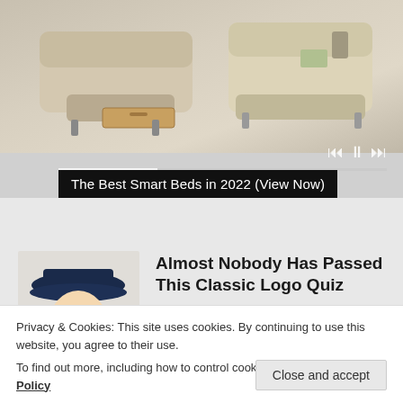[Figure (photo): Partially cropped image of a smart bed/sofa with storage drawer, beige/tan color, with media playback controls overlay and progress bar at bottom]
The Best Smart Beds in 2022 (View Now)
[Figure (illustration): Illustrated portrait of a colonial-era man (Quaker Oats mascot style) wearing a dark blue tricorn hat and white wig, smiling]
Almost Nobody Has Passed This Classic Logo Quiz
WarpedSpeed
Privacy & Cookies: This site uses cookies. By continuing to use this website, you agree to their use.
To find out more, including how to control cookies, see here: Cookie Policy
Close and accept